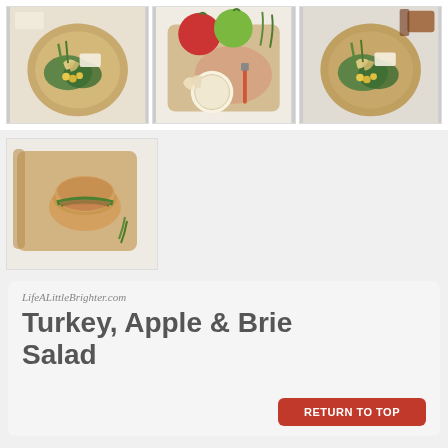[Figure (photo): Three food photos in a row showing Turkey Apple Brie Salad from above on wooden boards]
[Figure (photo): Single food photo showing a turkey apple brie sandwich/roll on a wooden cutting board]
LifeALittleBrighter.com
Turkey, Apple & Brie Salad
RETURN TO TOP